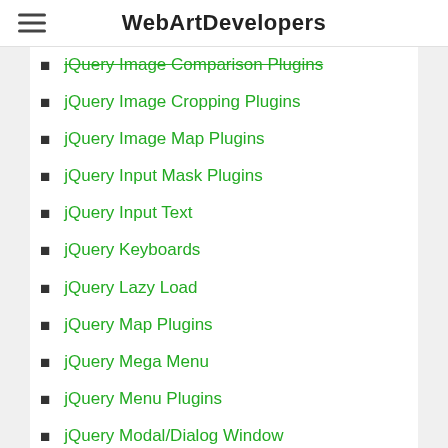WebArtDevelopers
jQuery Image Comparison Plugins
jQuery Image Cropping Plugins
jQuery Image Map Plugins
jQuery Input Mask Plugins
jQuery Input Text
jQuery Keyboards
jQuery Lazy Load
jQuery Map Plugins
jQuery Mega Menu
jQuery Menu Plugins
jQuery Modal/Dialog Window Plugins
jQuery Music Players
jQuery Notifications
jQuery Off-Canvas Menu